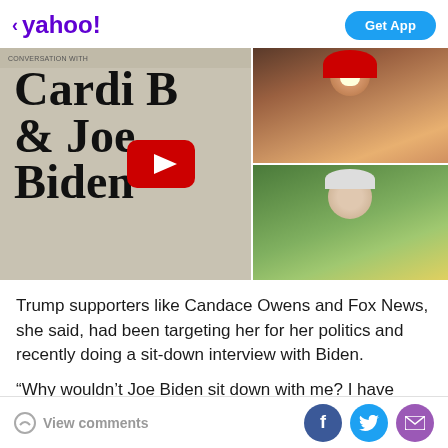< yahoo!  Get App
[Figure (screenshot): YouTube video thumbnail showing a conversation with Cardi B and Joe Biden. Left side shows large text 'CONVERSATION WITH Cardi B & Joe Biden' on a beige background with a YouTube play button. Right side shows two video frames: top frame with Cardi B (woman with red hair smiling), bottom frame with Joe Biden (older man smiling outdoors).]
Trump supporters like Candace Owens and Fox News, she said, had been targeting her for her politics and recently doing a sit-down interview with Biden.
“Why wouldn’t Joe Biden sit down with me? I have millions of followers and I pay millions in taxes… I’m
View comments